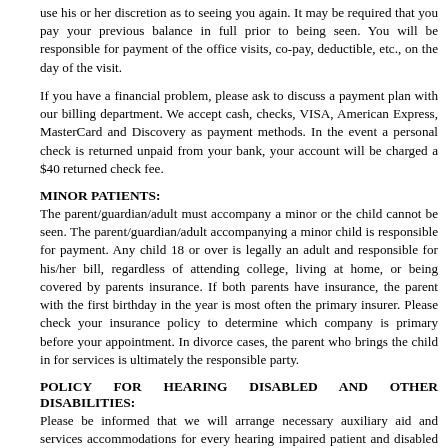use his or her discretion as to seeing you again. It may be required that you pay your previous balance in full prior to being seen. You will be responsible for payment of the office visits, co-pay, deductible, etc., on the day of the visit.
If you have a financial problem, please ask to discuss a payment plan with our billing department. We accept cash, checks, VISA, American Express, MasterCard and Discovery as payment methods. In the event a personal check is returned unpaid from your bank, your account will be charged a $40 returned check fee.
MINOR PATIENTS:
The parent/guardian/adult must accompany a minor or the child cannot be seen. The parent/guardian/adult accompanying a minor child is responsible for payment. Any child 18 or over is legally an adult and responsible for his/her bill, regardless of attending college, living at home, or being covered by parents insurance. If both parents have insurance, the parent with the first birthday in the year is most often the primary insurer. Please check your insurance policy to determine which company is primary before your appointment. In divorce cases, the parent who brings the child in for services is ultimately the responsible party.
POLICY FOR HEARING DISABLED AND OTHER DISABILITIES:
Please be informed that we will arrange necessary auxiliary aid and services accommodations for every hearing impaired patient and disabled patients. This accommodations take at least 3 days to arrange, so please inform Maryland Eye Institute ahead of time